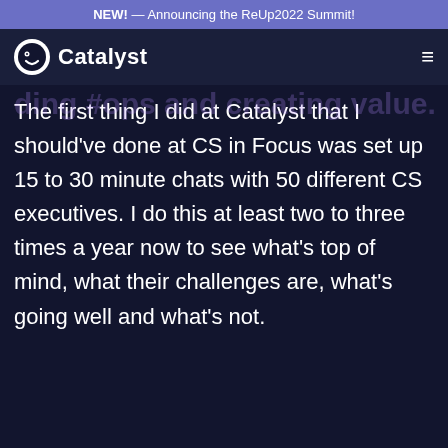NEW! — Announcing the ReUp2022 Summit!
[Figure (logo): Catalyst logo with smiley face icon and text 'Catalyst']
The first thing I did at Catalyst that I should've done at CS in Focus was set up 15 to 30 minute chats with 50 different CS executives. I do this at least two to three times a year now to see what's top of mind, what their challenges are, what's going well and what's not.